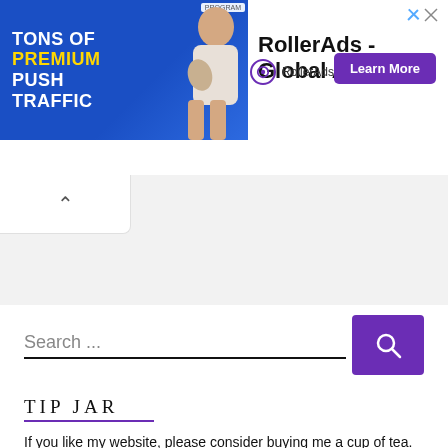[Figure (screenshot): RollerAds advertisement banner showing 'Tons of Premium Push Traffic' with a woman figure and Learn More CTA button, plus RollerAds branding]
[Figure (screenshot): Collapsed panel with upward chevron arrow]
Search ...
TIP JAR
If you like my website, please consider buying me a cup of tea.